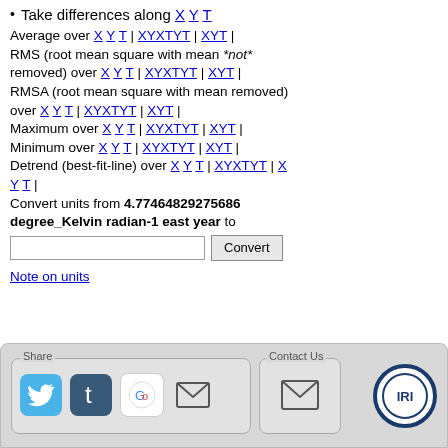Take differences along X Y T
Average over X Y T | X Y X T Y T | X Y T | RMS (root mean square with mean *not* removed) over X Y T | X Y X T Y T | X Y T | RMSA (root mean square with mean removed) over X Y T | X Y X T Y T | X Y T | Maximum over X Y T | X Y X T Y T | X Y T | Minimum over X Y T | X Y X T Y T | X Y T | Detrend (best-fit-line) over X Y T | X Y X T Y T | X Y T | Convert units from 4.77464829275686 degree_Kelvin radian-1 east year to [input] Convert
Note on units
[Figure (screenshot): Share and Contact Us footer bar with social media icons (Twitter, Tumblr, Google, email) and IRI logo]